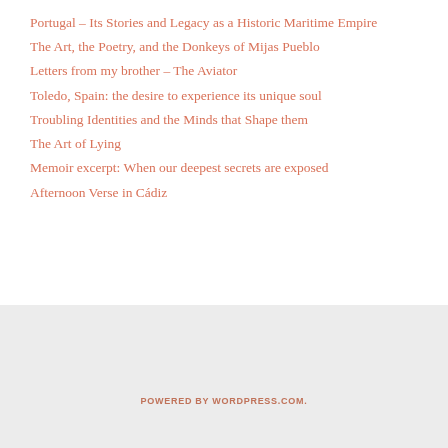Portugal – Its Stories and Legacy as a Historic Maritime Empire
The Art, the Poetry, and the Donkeys of Mijas Pueblo
Letters from my brother – The Aviator
Toledo, Spain: the desire to experience its unique soul
Troubling Identities and the Minds that Shape them
The Art of Lying
Memoir excerpt: When our deepest secrets are exposed
Afternoon Verse in Cádiz
POWERED BY WORDPRESS.COM.